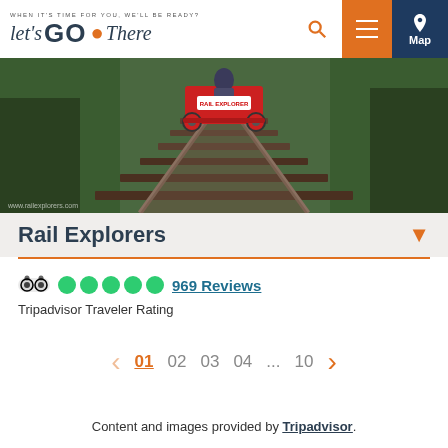Let's GO There — WHEN IT'S TIME FOR YOU, WE'LL BE READY? — Search | Menu | Map
[Figure (photo): Rail explorer vehicle on railroad tracks surrounded by green vegetation, viewed from behind]
Rail Explorers
969 Reviews
Tripadvisor Traveler Rating
01  02  03  04 ...  10
Content and images provided by Tripadvisor.